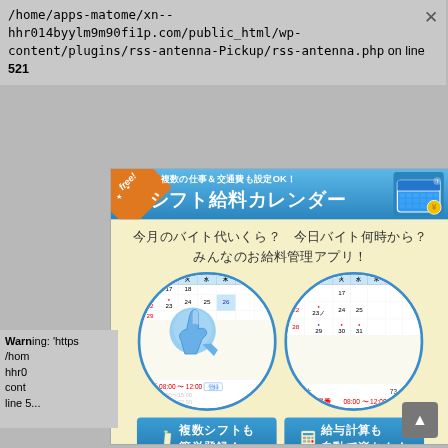/home/apps-matome/xn--hhr014byylm9m90fi1p.com/public_html/wp-content/plugins/rss-antenna-Pickup/rss-antenna.php on line 521
[Figure (screenshot): Japanese mobile app advertisement for 'Shift Kyuryo Calendar' (シフト給料カレンダー) - a salary management app. Shows two circular calendar screenshots demonstrating shift registration and automatic salary calculation features. Header in blue with orange ribbon saying 'free!'. Text says multiple shifts and transportation fees can be set, shows handwritten-style Japanese text about monthly part-time pay and shift times.]
Warning: 'https://... /home/apps-matome/xn--hhr014byylm9m90fi1p.com/public_html/wp-content/... on line 5...